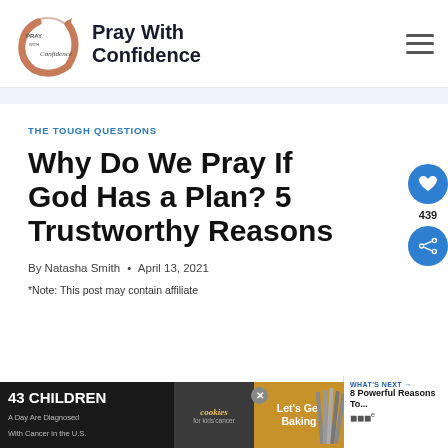Pray With Confidence
THE TOUGH QUESTIONS
Why Do We Pray If God Has a Plan? 5 Trustworthy Reasons
By Natasha Smith • April 13, 2021
*Note: This post may contain affiliate
[Figure (other): Advertisement banner: 43 Children A Day Are Diagnosed With Cancer in the U.S. — cookies for kids cancer — Let's Get Baking]